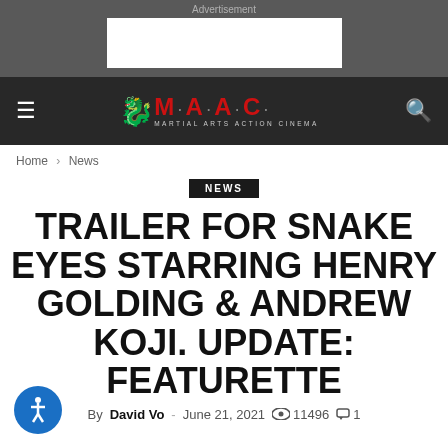Advertisement
[Figure (logo): M.A.A.C. Martial Arts Action Cinema logo in red and white on dark navigation bar]
Home › News
NEWS
TRAILER FOR SNAKE EYES STARRING HENRY GOLDING & ANDREW KOJI. UPDATE: FEATURETTE
By David Vo - June 21, 2021  11496  1